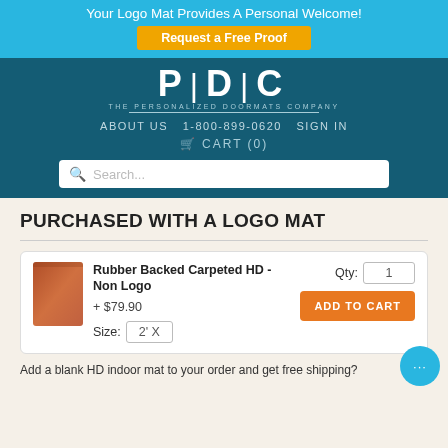Your Logo Mat Provides A Personal Welcome!
Request a Free Proof
[Figure (logo): PDC - The Personalized Doormats Company logo in white on dark teal background]
ABOUT US   1-800-899-0620   SIGN IN
🛒 CART (0)
Search...
PURCHASED WITH A LOGO MAT
Rubber Backed Carpeted HD - Non Logo  + $79.90   Size: 2' X   Qty: 1   ADD TO CART
Add a blank HD indoor mat to your order and get free shipping?